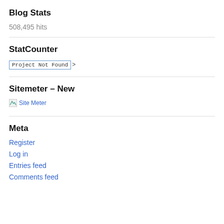Blog Stats
508,495 hits
StatCounter
Project Not Found >
Sitemeter – New
[Figure (other): Site Meter image placeholder with broken image icon and 'Site Meter' link text]
Meta
Register
Log in
Entries feed
Comments feed